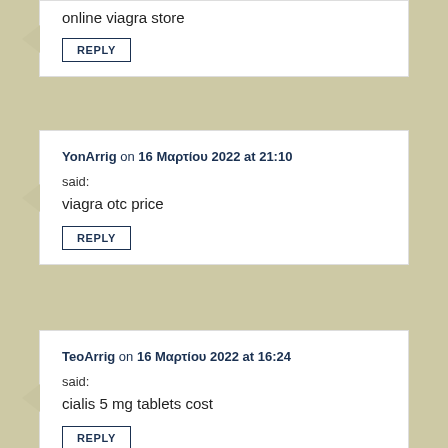online viagra store
REPLY
YonArrig on 16 Μαρτίου 2022 at 21:10
said:
viagra otc price
REPLY
TeoArrig on 16 Μαρτίου 2022 at 16:24
said:
cialis 5 mg tablets cost
REPLY